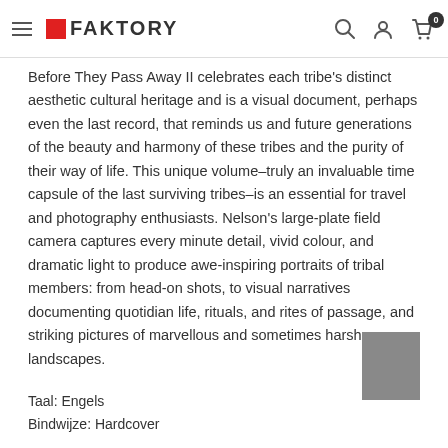FAKTORY
Before They Pass Away II celebrates each tribe's distinct aesthetic cultural heritage and is a visual document, perhaps even the last record, that reminds us and future generations of the beauty and harmony of these tribes and the purity of their way of life. This unique volume–truly an invaluable time capsule of the last surviving tribes–is an essential for travel and photography enthusiasts. Nelson's large-plate field camera captures every minute detail, vivid colour, and dramatic light to produce awe-inspiring portraits of tribal members: from head-on shots, to visual narratives documenting quotidian life, rituals, and rites of passage, and striking pictures of marvellous and sometimes harsh landscapes.
[Figure (photo): Small thumbnail image placeholder (gray square)]
Taal: Engels
Bindwijze: Hardcover